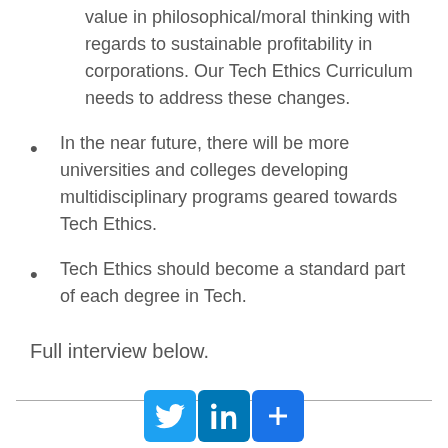value in philosophical/moral thinking with regards to sustainable profitability in corporations. Our Tech Ethics Curriculum needs to address these changes.
In the near future, there will be more universities and colleges developing multidisciplinary programs geared towards Tech Ethics.
Tech Ethics should become a standard part of each degree in Tech.
Full interview below.
[Figure (infographic): Social sharing icons: Twitter (blue bird), LinkedIn (blue 'in'), and a blue plus/share button, separated by a horizontal rule]